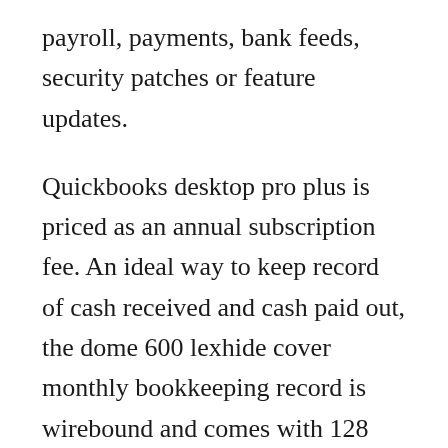payroll, payments, bank feeds, security patches or feature updates.
Quickbooks desktop pro plus is priced as an annual subscription fee. An ideal way to keep record of cash received and cash paid out, the dome 600 lexhide cover monthly bookkeeping record is wirebound and comes with 128 pages enough for an entire year for precise record keeping. Dome weekly bookkeeping record helps you keep simple income and expense records for your businesses on a weekly basis. Book keeping record features